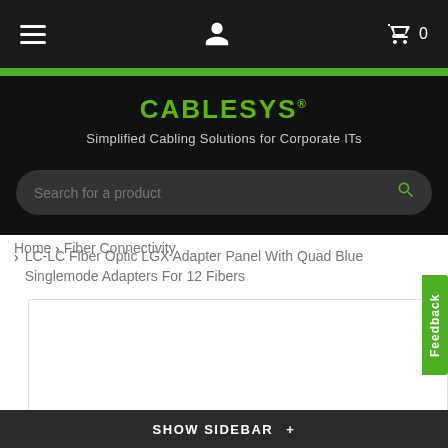Navigation bar with hamburger menu, user icon, and cart (0)
CABLESYS®
Simplified Cabling Solutions for Corporate ITs
Search for a product
Home › Fiber Connectivity
> LC-LC Fiber Optic LGX Adapter Panel With Quad Blue Singlemode Adapters For 12 Fibers
[Figure (screenshot): Product image area with border, content not visible]
SHOW SIDEBAR +